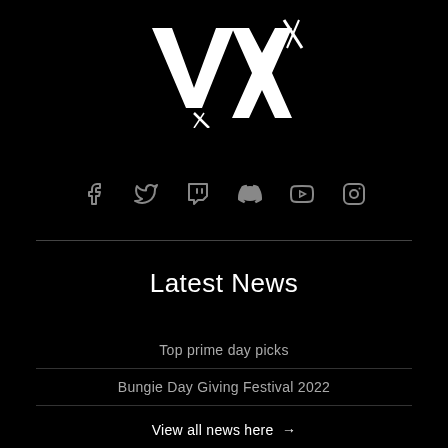[Figure (logo): Vexed esports logo in white on black background, stylized text with X design]
[Figure (infographic): Row of 6 social media icons: Facebook, Twitter, Twitch, Discord, YouTube, Instagram — all in grey]
Latest News
Top prime day picks
Bungie Day Giving Festival 2022
View all news here →